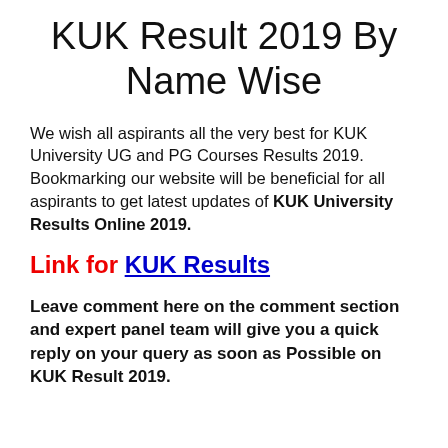KUK Result 2019 By Name Wise
We wish all aspirants all the very best for KUK University UG and PG Courses Results 2019. Bookmarking our website will be beneficial for all aspirants to get latest updates of KUK University Results Online 2019.
Link for KUK Results
Leave comment here on the comment section and expert panel team will give you a quick reply on your query as soon as Possible on KUK Result 2019.